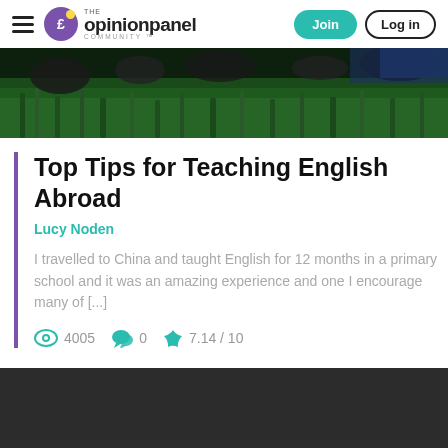The OpinionPanel Community — Join | Log in
[Figure (photo): Grass field close-up with dark background, outdoor scene]
Top Tips for Teaching English Abroad
Lucy Noden
I travelled to China and taught English for 12 months in a primary school and it was an amazing experience and one I encourage many of [...]
4005   0   7.14 / 10